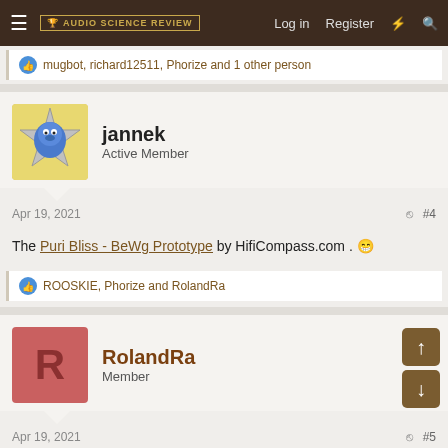Audio Science Review — Log in | Register
mugbot, richard12511, Phorize and 1 other person
jannek
Active Member
Apr 19, 2021 #4
The Puri Bliss - BeWg Prototype by HifiCompass.com . 😁
ROOSKIE, Phorize and RolandRa
RolandRa
Member
Apr 19, 2021 #5
The Grimm Ls1be
Kii Three